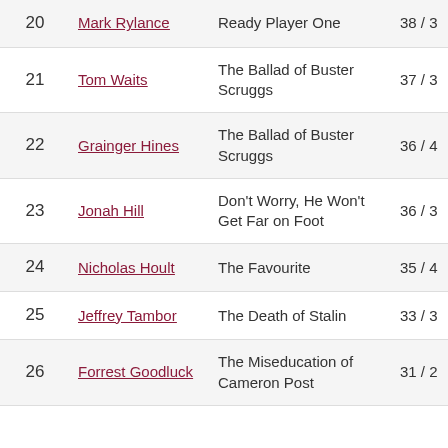| # | Actor | Film | Score |
| --- | --- | --- | --- |
| 20 | Mark Rylance | Ready Player One | 38 / 3 |
| 21 | Tom Waits | The Ballad of Buster Scruggs | 37 / 3 |
| 22 | Grainger Hines | The Ballad of Buster Scruggs | 36 / 4 |
| 23 | Jonah Hill | Don't Worry, He Won't Get Far on Foot | 36 / 3 |
| 24 | Nicholas Hoult | The Favourite | 35 / 4 |
| 25 | Jeffrey Tambor | The Death of Stalin | 33 / 3 |
| 26 | Forrest Goodluck | The Miseducation of Cameron Post | 31 / 2 |